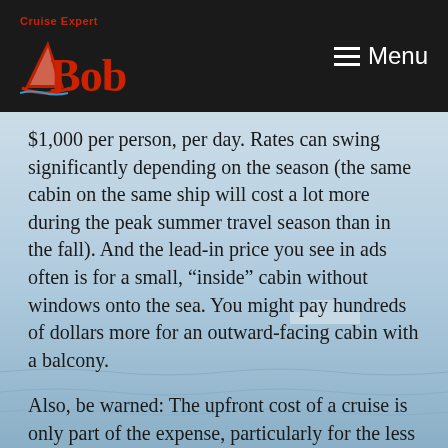Cruise Expert Bob — Menu
$1,000 per person, per day. Rates can swing significantly depending on the season (the same cabin on the same ship will cost a lot more during the peak summer travel season than in the fall). And the lead-in price you see in ads often is for a small, “inside” cabin without windows onto the sea. You might pay hundreds of dollars more for an outward-facing cabin with a balcony.
Also, be warned: The upfront cost of a cruise is only part of the expense, particularly for the less expensive, mass-market lines. While